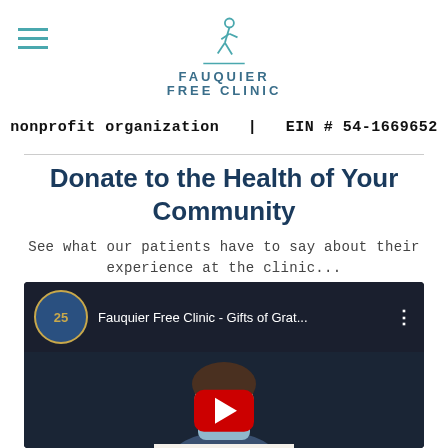[Figure (logo): Fauquier Free Clinic logo with walking figure icon and teal text]
nonprofit organization  |  EIN # 54-1669652
Donate to the Health of Your Community
See what our patients have to say about their experience at the clinic...
[Figure (screenshot): YouTube video embed thumbnail showing a person wearing a mask holding a sign reading 'Dr. [name] King. She is wonderful, and she always goes the...' with YouTube play button overlay. Video title: Fauquier Free Clinic - Gifts of Grat...]